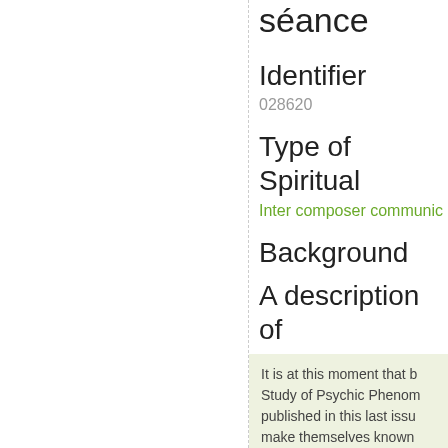séance
Identifier
028620
Type of Spiritual
Inter composer communic
Background
A description of
It is at this moment that b Study of Psychic Phenom published in this last issu make themselves known ask for an appointment.
My father was delighted explanatory letter, Mr. Da